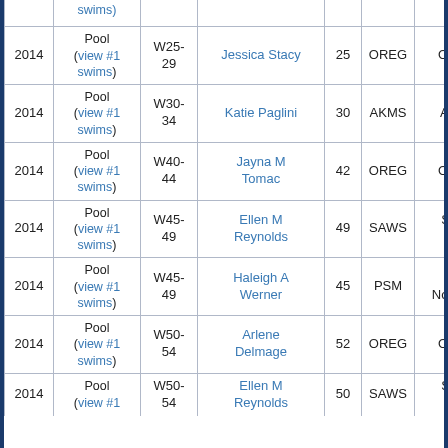| Year | Pool | Age Group | Name | Age | LSC | Club |
| --- | --- | --- | --- | --- | --- | --- |
| 2014 | Pool (view #1 swims) | W25-29 | Jessica Stacy | 25 | OREG | Orego... |
| 2014 | Pool (view #1 swims) | W30-34 | Katie Paglini | 30 | AKMS | Alask... |
| 2014 | Pool (view #1 swims) | W40-44 | Jayna M Tomac | 42 | OREG | Orego... |
| 2014 | Pool (view #1 swims) | W45-49 | Ellen M Reynolds | 49 | SAWS | Snak Rive... |
| 2014 | Pool (view #1 swims) | W45-49 | Haleigh A Werner | 45 | PSM | Paci Northwe... |
| 2014 | Pool (view #1 swims) | W50-54 | Arlene Delmage | 52 | OREG | Orego... |
| 2014 | Pool (view #1 swims) | W50-54 | Ellen M Reynolds | 50 | SAWS | Snak Rive... |